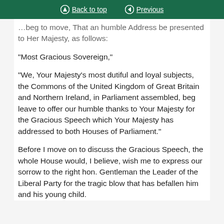Back to top | Previous
…beg to move, That an humble Address be presented to Her Majesty, as follows:
“Most Gracious Sovereign,”
“We, Your Majesty’s most dutiful and loyal subjects, the Commons of the United Kingdom of Great Britain and Northern Ireland, in Parliament assembled, beg leave to offer our humble thanks to Your Majesty for the Gracious Speech which Your Majesty has addressed to both Houses of Parliament.”
Before I move on to discuss the Gracious Speech, the whole House would, I believe, wish me to express our sorrow to the right hon. Gentleman the Leader of the Liberal Party for the tragic blow that has befallen him and his young child.